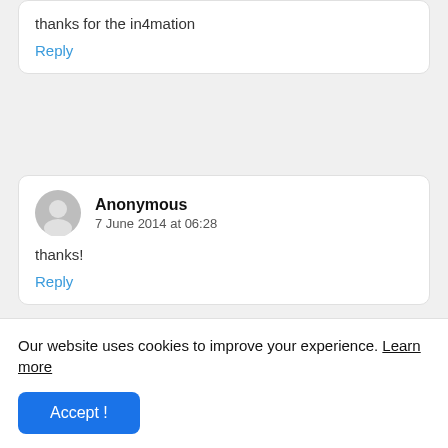thanks for the in4mation
Reply
Anonymous
7 June 2014 at 06:28
thanks!
Reply
Unknown
18 June 2014 at 18:12
Our website uses cookies to improve your experience. Learn more
Accept !